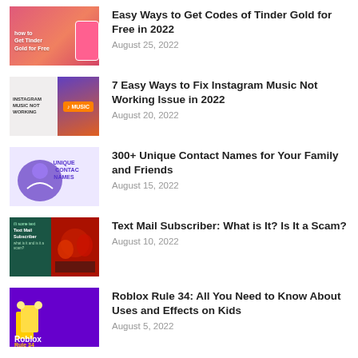Easy Ways to Get Codes of Tinder Gold for Free in 2022 — August 25, 2022
7 Easy Ways to Fix Instagram Music Not Working Issue in 2022 — August 20, 2022
300+ Unique Contact Names for Your Family and Friends — August 15, 2022
Text Mail Subscriber: What is It? Is It a Scam? — August 10, 2022
Roblox Rule 34: All You Need to Know About Uses and Effects on Kids — August 5, 2022